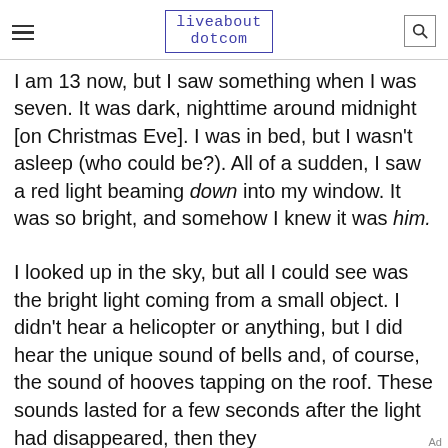liveabout dotcom
I am 13 now, but I saw something when I was seven. It was dark, nighttime around midnight [on Christmas Eve]. I was in bed, but I wasn't asleep (who could be?). All of a sudden, I saw a red light beaming down into my window. It was so bright, and somehow I knew it was him.
I looked up in the sky, but all I could see was the bright light coming from a small object. I didn't hear a helicopter or anything, but I did hear the unique sound of bells and, of course, the sound of hooves tapping on the roof. These sounds lasted for a few seconds after the light had disappeared, then they